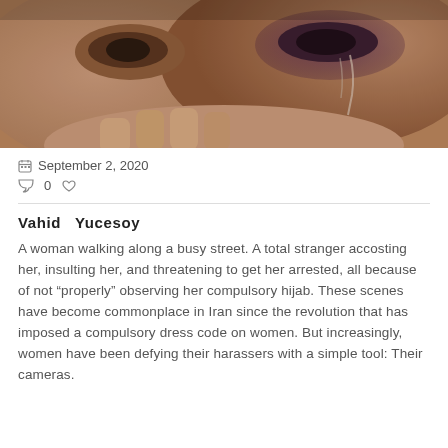[Figure (photo): Close-up of a woman's face with bruising around her eye, appearing to cry, with hands raised near her face.]
📅 September 2, 2020
💬 0 ♡
Vahid Yucesoy
A woman walking along a busy street. A total stranger accosting her, insulting her, and threatening to get her arrested, all because of not "properly" observing her compulsory hijab. These scenes have become commonplace in Iran since the revolution that has imposed a compulsory dress code on women. But increasingly, women have been defying their harassers with a simple tool: Their cameras.